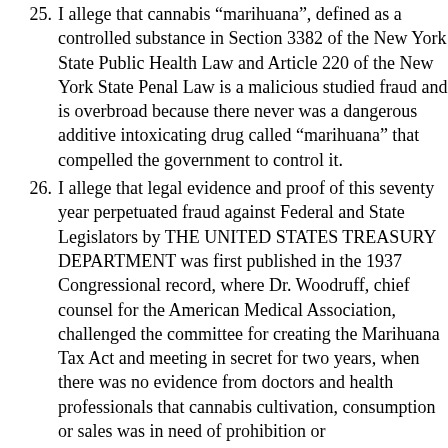25. I allege that cannabis "marihuana", defined as a controlled substance in Section 3382 of the New York State Public Health Law and Article 220 of the New York State Penal Law is a malicious studied fraud and is overbroad because there never was a dangerous additive intoxicating drug called "marihuana" that compelled the government to control it.
26. I allege that legal evidence and proof of this seventy year perpetuated fraud against Federal and State Legislators by THE UNITED STATES TREASURY DEPARTMENT was first published in the 1937 Congressional record, where Dr. Woodruff, chief counsel for the American Medical Association, challenged the committee for creating the Marihuana Tax Act and meeting in secret for two years, when there was no evidence from doctors and health professionals that cannabis cultivation, consumption or sales was in need of prohibition or